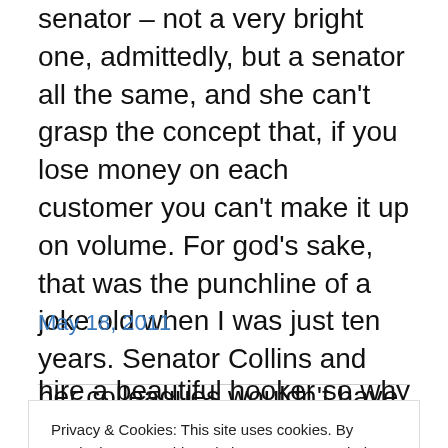senator – not a very bright one, admittedly, but a senator all the same, and she can't grasp the concept that, if you lose money on each customer you can't make it up on volume. For god's sake, that was the punchline of a joke old when I was just ten years. Senator Collins and her colleagues wouldn't have gotten the joke then and still don't today. God spare us.
May 18, 2011
Privacy & Cookies: This site uses cookies. By continuing to use this website, you agree to their use.
To find out more, including how to control cookies, see here: Cookie Policy
Close and accept
hire a beautiful hooker so why would he pick on an older